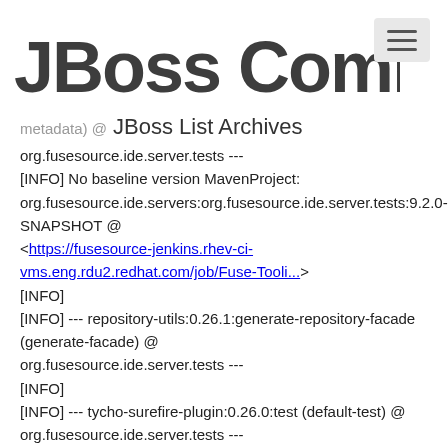[Figure (logo): JBoss Community logo with stylized bold text]
JBoss List Archives
metadata) @
org.fusesource.ide.server.tests ---
[INFO] No baseline version MavenProject:
org.fusesource.ide.servers:org.fusesource.ide.server.tests:9.2.0-SNAPSHOT @
<https://fusesource-jenkins.rhev-ci-vms.eng.rdu2.redhat.com/job/Fuse-Tooli...>
[INFO]
[INFO] --- repository-utils:0.26.1:generate-repository-facade (generate-facade) @
org.fusesource.ide.server.tests ---
[INFO]
[INFO] --- tycho-surefire-plugin:0.26.0:test (default-test) @
org.fusesource.ide.server.tests ---
[INFO] Expected eclipse log file:
<https://fusesource-jenkins.rhev-ci-vms.eng.rdu2.redhat.com/job/Fuse-Tooli...>